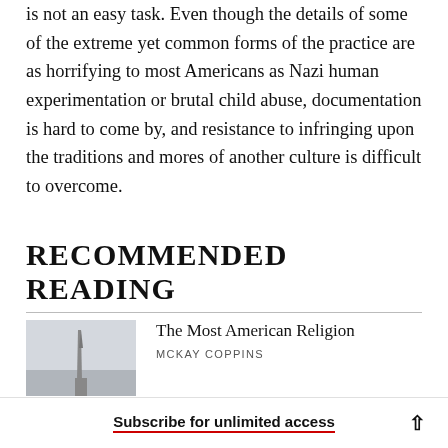is not an easy task. Even though the details of some of the extreme yet common forms of the practice are as horrifying to most Americans as Nazi human experimentation or brutal child abuse, documentation is hard to come by, and resistance to infringing upon the traditions and mores of another culture is difficult to overcome.
RECOMMENDED READING
The Most American Religion
MCKAY COPPINS
Subscribe for unlimited access